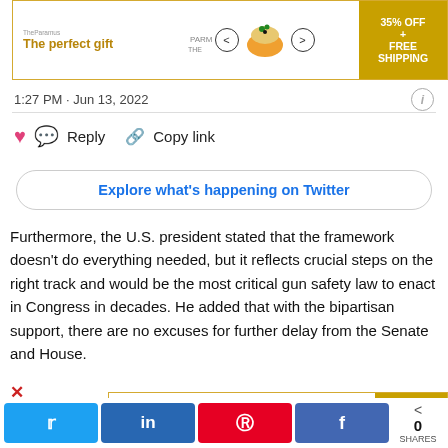[Figure (screenshot): Advertisement banner: 'The perfect gift' with bowl image, navigation arrows, and '35% OFF + FREE SHIPPING' badge]
1:27 PM · Jun 13, 2022
Reply   Copy link
Explore what's happening on Twitter
Furthermore, the U.S. president stated that the framework doesn't do everything needed, but it reflects crucial steps on the right track and would be the most critical gun safety law to enact in Congress in decades. He added that with the bipartisan support, there are no excuses for further delay from the Senate and House.
[Figure (screenshot): Second advertisement banner: 'The perfect gift' with bowl image, navigation arrows, and '35% OFF + FREE SHIPPING' badge]
0 SHARES